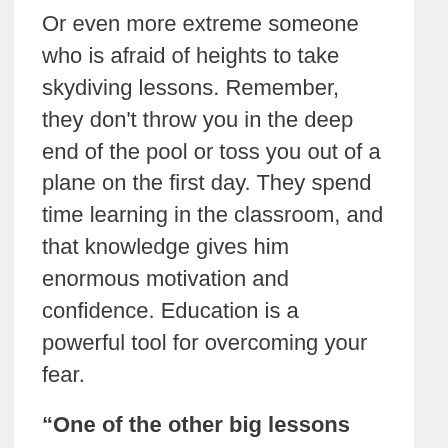Or even more extreme someone who is afraid of heights to take skydiving lessons. Remember, they don't throw you in the deep end of the pool or toss you out of a plane on the first day. They spend time learning in the classroom, and that knowledge gives him enormous motivation and confidence. Education is a powerful tool for overcoming your fear.
“One of the other big lessons that I've learned, particularly in business, is that you have a responsibility to yourself to learn as much about your business as